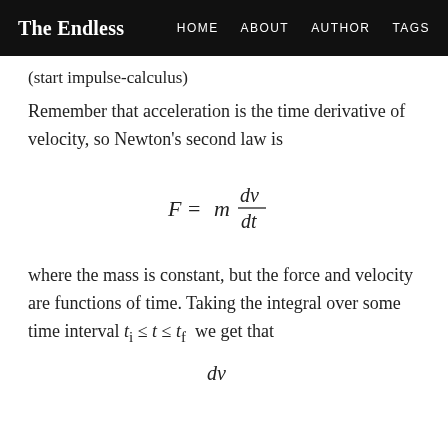The Endless | HOME | ABOUT | AUTHOR | TAGS
(start impulse-calculus)
Remember that acceleration is the time derivative of velocity, so Newton's second law is
where the mass is constant, but the force and velocity are functions of time. Taking the integral over some time interval t_i ≤ t ≤ t_f  we get that